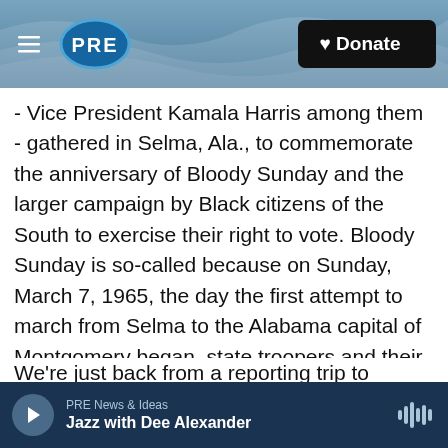[Figure (logo): PRE public radio logo with hamburger menu on left and Donate button on right, over a wave/ocean background header bar]
- Vice President Kamala Harris among them - gathered in Selma, Ala., to commemorate the anniversary of Bloody Sunday and the larger campaign by Black citizens of the South to exercise their right to vote. Bloody Sunday is so-called because on Sunday, March 7, 1965, the day the first attempt to march from Selma to the Alabama capital of Montgomery began, state troopers and their accomplices violently attacked the unarmed men and women, causing serious injury to many but provoking national outrage.
We're just back from a reporting trip to Alabama
PRE News & Ideas
Jazz with Dee Alexander